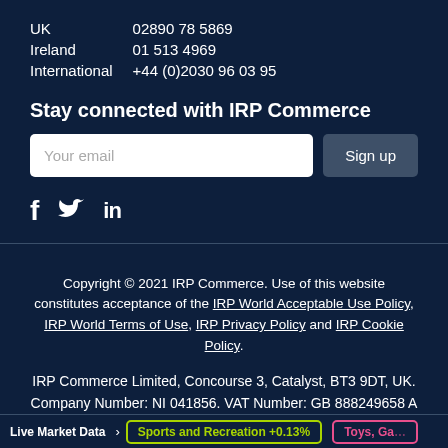| UK | 02890 78 5869 |
| Ireland | 01 513 4969 |
| International | +44 (0)2030 96 03 95 |
Stay connected with IRP Commerce
Your email [input field] Sign up [button]
[Figure (other): Social media icons: Facebook (f), Twitter (bird), LinkedIn (in)]
Copyright © 2021 IRP Commerce. Use of this website constitutes acceptance of the IRP World Acceptable Use Policy, IRP World Terms of Use, IRP Privacy Policy and IRP Cookie Policy.
IRP Commerce Limited, Concourse 3, Catalyst, BT3 9DT, UK. Company Number: NI 041856. VAT Number: GB 888249658 A Deloitte Fast 50 Company eight times: 2010, 2011, 2012,
Live Market Data | Sports and Recreation +0.13% | Toys, Ga...